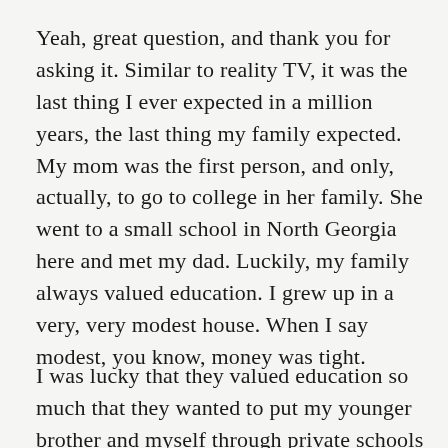Yeah, great question, and thank you for asking it. Similar to reality TV, it was the last thing I ever expected in a million years, the last thing my family expected. My mom was the first person, and only, actually, to go to college in her family. She went to a small school in North Georgia here and met my dad. Luckily, my family always valued education. I grew up in a very, very modest house. When I say modest, you know, money was tight.
I was lucky that they valued education so much that they wanted to put my younger brother and myself through private schools as soon as